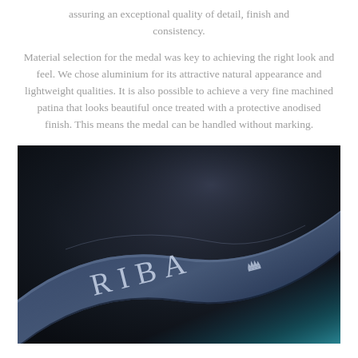assuring an exceptional quality of detail, finish and consistency.
Material selection for the medal was key to achieving the right look and feel. We chose aluminium for its attractive natural appearance and lightweight qualities. It is also possible to achieve a very fine machined patina that looks beautiful once treated with a protective anodised finish. This means the medal can be handled without marking.
[Figure (photo): Close-up photograph of a dark navy/blue anodised aluminium RIBA medal showing the engraved 'RIBA' lettering and a small royal crest emblem on the curved surface of the medal, shot against a dark background with a hint of teal/blue colour at the bottom right.]